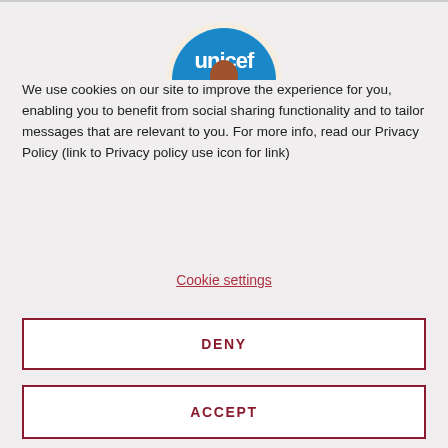[Figure (logo): UNICEF logo partially visible at the top center of the cookie consent dialog]
We use cookies on our site to improve the experience for you, enabling you to benefit from social sharing functionality and to tailor messages that are relevant to you. For more info, read our Privacy Policy (link to Privacy policy use icon for link)
Cookie settings
DENY
ACCEPT